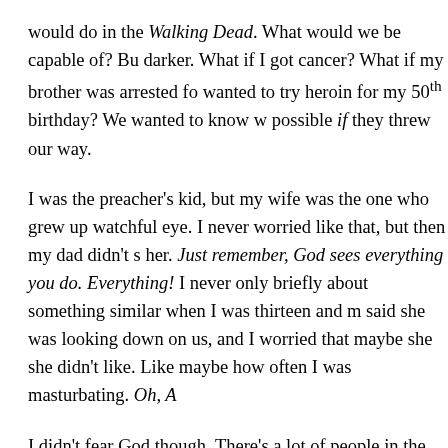would do in the Walking Dead. What would we be capable of? Bu darker. What if I got cancer? What if my brother was arrested fo wanted to try heroin for my 50th birthday? We wanted to know w possible if they threw our way.
I was the preacher's kid, but my wife was the one who grew up watchful eye. I never worried like that, but then my dad didn't s her. Just remember, God sees everything you do. Everything! I never only briefly about something similar when I was thirteen and m said she was looking down on us, and I worried that maybe she she didn't like. Like maybe how often I was masturbating. Oh, A
I didn't fear God though. There's a lot of people in the world if God was too busy to watch all of us. That's a lot of people takin of people masturbating. God would get dizzy keeping track of a dizzy god. I didn't believe he expected us to consider being wato on us contemplating the meaning of life. I think we started goi This is getting complicated. Then we started thinking about him.